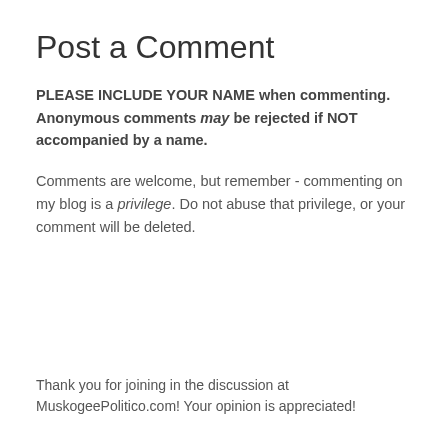Post a Comment
PLEASE INCLUDE YOUR NAME when commenting. Anonymous comments may be rejected if NOT accompanied by a name.
Comments are welcome, but remember - commenting on my blog is a privilege. Do not abuse that privilege, or your comment will be deleted.
Thank you for joining in the discussion at MuskogeePolitico.com! Your opinion is appreciated!